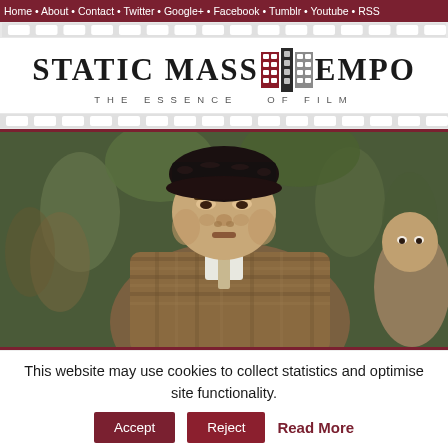Home • About • Contact • Twitter • Google+ • Facebook • Tumblr • Youtube • RSS
[Figure (logo): Static Mass Emporium logo with film strip icon and tagline THE ESSENCE OF FILM]
[Figure (photo): Close-up photo of an older man wearing a black fur hat and plaid coat with tie, surrounded by crowd in background]
This website may use cookies to collect statistics and optimise site functionality.
Accept   Reject   Read More